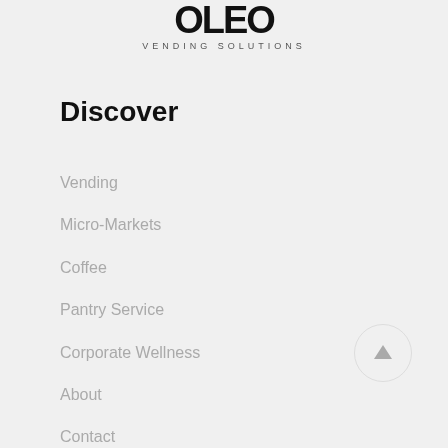[Figure (logo): Branded logo with stylized text and 'VENDING SOLUTIONS' subtitle]
Discover
Vending
Micro-Markets
Coffee
Pantry Service
Corporate Wellness
About
Contact